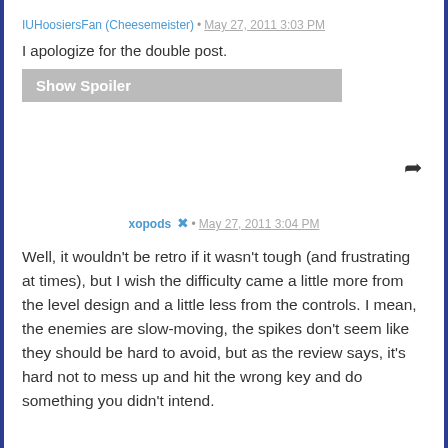IUHoosiersFan (Cheesemeister) • May 27, 2011 3:03 PM
I apologize for the double post.
Show Spoiler
xopods • May 27, 2011 3:04 PM
Well, it wouldn't be retro if it wasn't tough (and frustrating at times), but I wish the difficulty came a little more from the level design and a little less from the controls. I mean, the enemies are slow-moving, the spikes don't seem like they should be hard to avoid, but as the review says, it's hard not to mess up and hit the wrong key and do something you didn't intend.